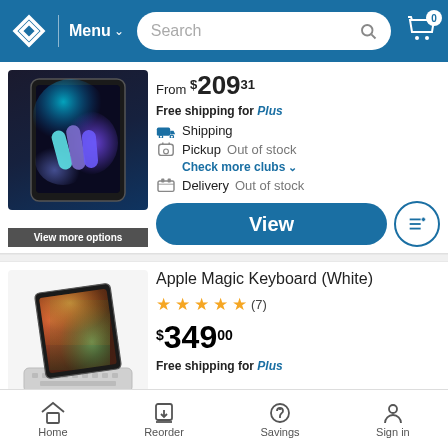Menu | Search | Cart (0)
[Figure (screenshot): iPad mini product image with colorful gradient screen, showing app icons]
View more options
From $209.31
Free shipping for Plus
Shipping
Pickup  Out of stock
Check more clubs
Delivery  Out of stock
View
Apple Magic Keyboard (White)
★★★★★ (7)
$349.00
Free shipping for Plus
[Figure (screenshot): Apple Magic Keyboard with iPad Pro in white/silver color]
Home | Reorder | Savings | Sign in